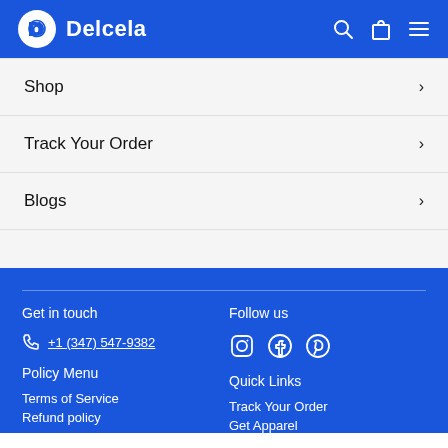Delcela
Shop
Track Your Order
Blogs
Get in touch | Follow us | +1 (347) 547-9382 | Policy Menu | Quick Links | Terms of Service | Track Your Order | Refund policy | Get Apparel